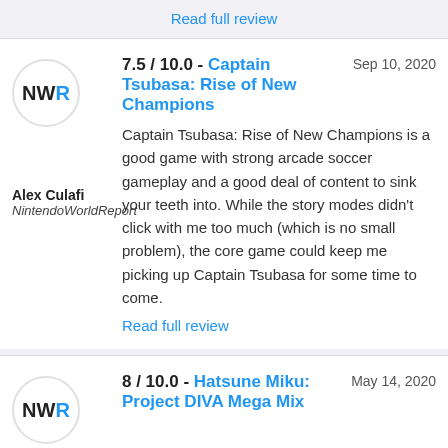Read full review
7.5 / 10.0 - Captain Tsubasa: Rise of New Champions   Sep 10, 2020
Captain Tsubasa: Rise of New Champions is a good game with strong arcade soccer gameplay and a good deal of content to sink your teeth into. While the story modes didn't click with me too much (which is no small problem), the core game could keep me picking up Captain Tsubasa for some time to come.
Read full review
Alex Culafi
NintendoWorldReport
8 / 10.0 - Hatsune Miku: Project DIVA Mega Mix   May 14, 2020